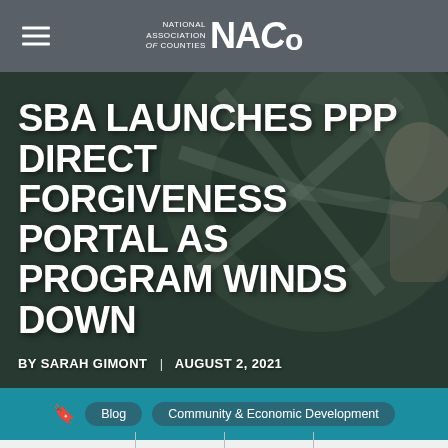NATIONAL ASSOCIATION of COUNTIES NACo
[Figure (photo): Blurred background photo showing metallic/mechanical shapes, used as hero image background for article about SBA PPP Direct Forgiveness Portal]
SBA LAUNCHES PPP DIRECT FORGIVENESS PORTAL AS PROGRAM WINDS DOWN
BY SARAH GIMONT | AUGUST 2, 2021
Blog  Community & Economic Development